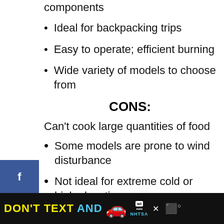components
Ideal for backpacking trips
Easy to operate; efficient burning
Wide variety of models to choose from
CONS:
Can't cook large quantities of food
Some models are prone to wind disturbance
Not ideal for extreme cold or high elevation
Hard to tell how much fuel is left